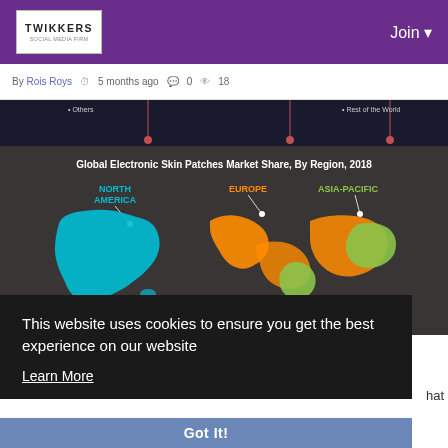Twikkers — Join
By Rois Roys  5 months ago  0  18
[Figure (map): Global Electronic Skin Patches Market Share, By Region, 2018. Shows world map with three highlighted regions: North America (cyan/blue), Europe (orange), Asia-Pacific (green). Partial view of legend at top showing 'Others' and 'Rest of the World'.]
This website uses cookies to ensure you get the best experience on our website
Learn More
Got It!
hat